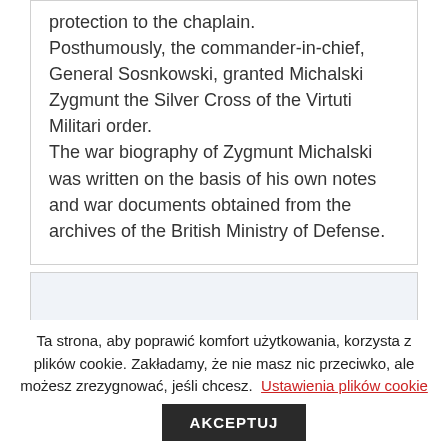protection to the chaplain. Posthumously, the commander-in-chief, General Sosnkowski, granted Michalski Zygmunt the Silver Cross of the Virtuti Militari order. The war biography of Zygmunt Michalski was written on the basis of his own notes and war documents obtained from the archives of the British Ministry of Defense.
Ta strona, aby poprawić komfort użytkowania, korzysta z plików cookie. Zakładamy, że nie masz nic przeciwko, ale możesz zrezygnować, jeśli chcesz. Ustawienia plików cookie